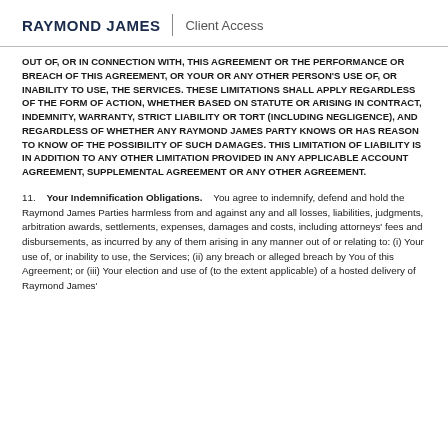RAYMOND JAMES | Client Access
OUT OF, OR IN CONNECTION WITH, THIS AGREEMENT OR THE PERFORMANCE OR BREACH OF THIS AGREEMENT, OR YOUR OR ANY OTHER PERSON'S USE OF, OR INABILITY TO USE, THE SERVICES. THESE LIMITATIONS SHALL APPLY REGARDLESS OF THE FORM OF ACTION, WHETHER BASED ON STATUTE OR ARISING IN CONTRACT, INDEMNITY, WARRANTY, STRICT LIABILITY OR TORT (INCLUDING NEGLIGENCE), AND REGARDLESS OF WHETHER ANY RAYMOND JAMES PARTY KNOWS OR HAS REASON TO KNOW OF THE POSSIBILITY OF SUCH DAMAGES. THIS LIMITATION OF LIABILITY IS IN ADDITION TO ANY OTHER LIMITATION PROVIDED IN ANY APPLICABLE ACCOUNT AGREEMENT, SUPPLEMENTAL AGREEMENT OR ANY OTHER AGREEMENT.
11. Your Indemnification Obligations. You agree to indemnify, defend and hold the Raymond James Parties harmless from and against any and all losses, liabilities, judgments, arbitration awards, settlements, expenses, damages and costs, including attorneys' fees and disbursements, as incurred by any of them arising in any manner out of or relating to: (i) Your use of, or inability to use, the Services; (ii) any breach or alleged breach by You of this Agreement; or (iii) Your election and use of (to the extent applicable) of a hosted delivery of Raymond James'...